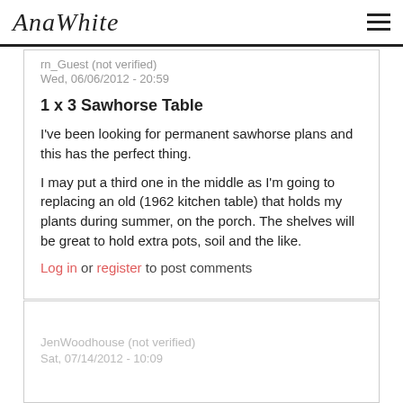Ana White
rn_Guest (not verified)
Wed, 06/06/2012 - 20:59
1 x 3 Sawhorse Table
I've been looking for permanent sawhorse plans and this has the perfect thing.
I may put a third one in the middle as I'm going to replacing an old (1962 kitchen table) that holds my plants during summer, on the porch. The shelves will be great to hold extra pots, soil and the like.
Log in or register to post comments
JenWoodhouse (not verified)
Sat, 07/14/2012 - 10:09